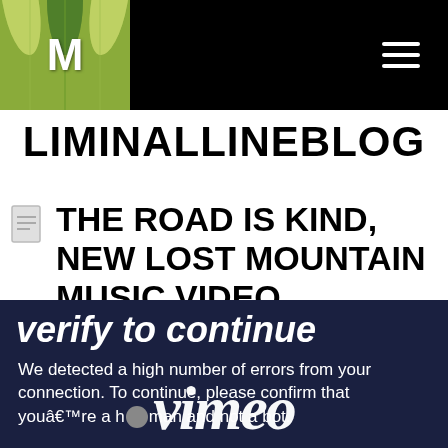LIMINALLINEBLOG navigation bar with logo and hamburger menu
LIMINALLINEBLOG
THE ROAD IS KIND, NEW LOST MOUNTAIN MUSIC VIDEO
[Figure (screenshot): Vimeo embedded video player showing a verification screen: 'verify to continue' with text 'We detected a high number of errors from your connection. To continue, please confirm that youâ€™re a human and not a bot.' and the Vimeo logo overlaid.]